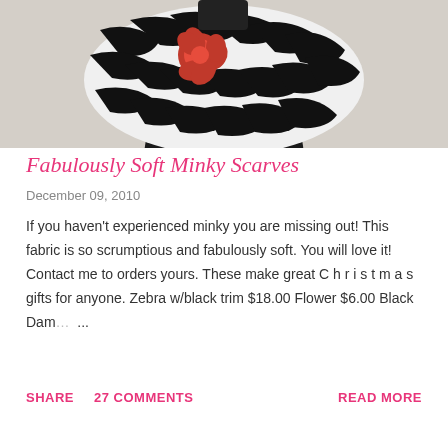[Figure (photo): A mannequin wearing a black and white zebra print infinity scarf with a red flower accent, photographed against a light background.]
Fabulously Soft Minky Scarves
December 09, 2010
If you haven't experienced minky you are missing out! This fabric is so scrumptious and fabulously soft. You will love it! Contact me to orders yours. These make great C h r i s t m a s gifts for anyone. Zebra w/black trim $18.00 Flower $6.00 Black Dam… ...
SHARE   27 COMMENTS   READ MORE